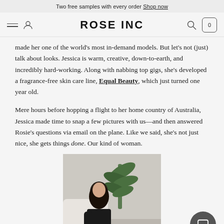Two free samples with every order Shop now
ROSE INC
made her one of the world’s most in-demand models. But let’s not (just) talk about looks. Jessica is warm, creative, down-to-earth, and incredibly hard-working. Along with nabbing top gigs, she’s developed a fragrance-free skin care line, Equal Beauty, which just turned one year old.
Mere hours before hopping a flight to her home country of Australia, Jessica made time to snap a few pictures with us—and then answered Rosie’s questions via email on the plane. Like we said, she’s not just nice, she gets things done. Our kind of woman.
[Figure (photo): A woman with dark hair sitting in a chair next to a large green plant against a light background, photographed in a style consistent with a beauty/lifestyle brand.]